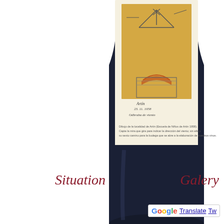[Figure (photo): A wine bottle photographed from the front, showing the lower half of the bottle. The bottle has a dark navy/black body and a cream-colored label featuring a child's drawing of a weather vane or wind indicator sketch with handwritten text in Spanish. The label text mentions 'Escuela de Niños de Artín 1958' and references to a winery and wind direction.]
Situation
Galery
[Figure (logo): Google Translate badge with stylized G logo in Google colors (blue, red, yellow, green) and the text 'Translate' underlined, followed by partial text 'Tw']